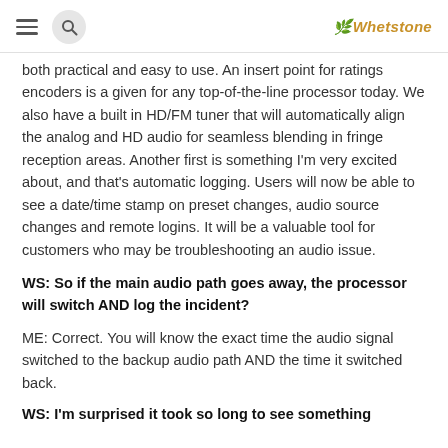[hamburger menu] [search] Whetstone
both practical and easy to use. An insert point for ratings encoders is a given for any top-of-the-line processor today. We also have a built in HD/FM tuner that will automatically align the analog and HD audio for seamless blending in fringe reception areas. Another first is something I'm very excited about, and that's automatic logging. Users will now be able to see a date/time stamp on preset changes, audio source changes and remote logins. It will be a valuable tool for customers who may be troubleshooting an audio issue.
WS: So if the main audio path goes away, the processor will switch AND log the incident?
ME: Correct. You will know the exact time the audio signal switched to the backup audio path AND the time it switched back.
WS: I'm surprised it took so long to see something